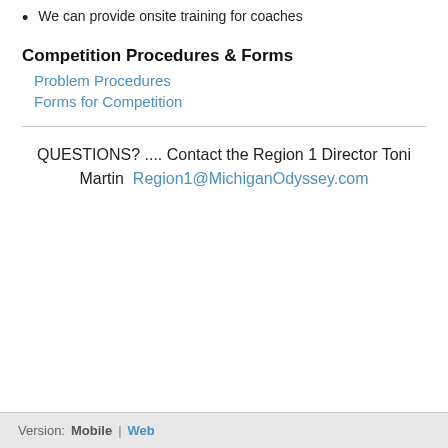We can provide onsite training for coaches
Competition Procedures & Forms
Problem Procedures
Forms for Competition
QUESTIONS?  .... Contact the Region 1 Director Toni Martin  Region1@MichiganOdyssey.com
Version:  Mobile | Web